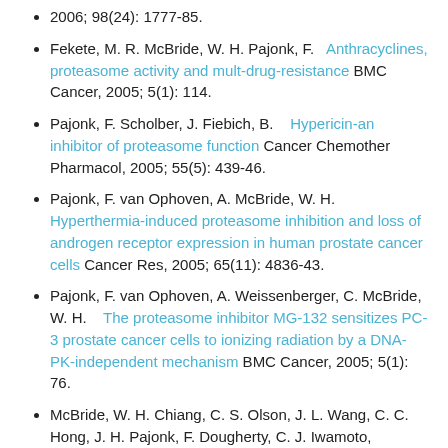2006; 98(24): 1777-85.
Fekete, M. R. McBride, W. H. Pajonk, F. Anthracyclines, proteasome activity and mult-drug-resistance BMC Cancer, 2005; 5(1): 114.
Pajonk, F. Scholber, J. Fiebich, B.   Hypericin-an inhibitor of proteasome function Cancer Chemother Pharmacol, 2005; 55(5): 439-46.
Pajonk, F. van Ophoven, A. McBride, W. H.  Hyperthermia-induced proteasome inhibition and loss of androgen receptor expression in human prostate cancer cells Cancer Res, 2005; 65(11): 4836-43.
Pajonk, F. van Ophoven, A. Weissenberger, C. McBride, W. H.   The proteasome inhibitor MG-132 sensitizes PC-3 prostate cancer cells to ionizing radiation by a DNA-PK-independent mechanism BMC Cancer, 2005; 5(1): 76.
McBride, W. H. Chiang, C. S. Olson, J. L. Wang, C. C. Hong, J. H. Pajonk, F. Dougherty, G. J. Iwamoto, ...